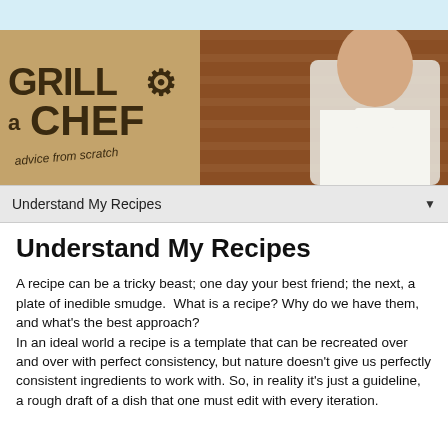[Figure (photo): Hero banner image showing 'Grill a Chef - advice from scratch' logo on left side with a wooden/cardboard texture, and a young male chef in white chef coat on right side against a brick wall background.]
Understand My Recipes
Understand My Recipes
A recipe can be a tricky beast; one day your best friend; the next, a plate of inedible smudge.  What is a recipe? Why do we have them, and what's the best approach?
In an ideal world a recipe is a template that can be recreated over and over with perfect consistency, but nature doesn't give us perfectly consistent ingredients to work with. So, in reality it's just a guideline, a rough draft of a dish that one must edit with every iteration.